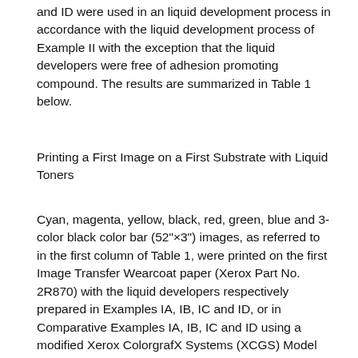and ID were used in an liquid development process in accordance with the liquid development process of Example II with the exception that the liquid developers were free of adhesion promoting compound. The results are summarized in Table 1 below.
Printing a First Image on a First Substrate with Liquid Toners
Cyan, magenta, yellow, black, red, green, blue and 3-color black color bar (52"×3") images, as referred to in the first column of Table 1, were printed on the first Image Transfer Wearcoat paper (Xerox Part No. 2R870) with the liquid developers respectively prepared in Examples IA, IB, IC and ID, or in Comparative Examples IA, IB, IC and ID using a modified Xerox ColorgrafX Systems (XCGS) Model 8954 color printer. The red, green, and blue color bars were generated by yellow over magenta, yellow over cyan, and magenta over cyan, respectively. The 3-color black was the overlay of cyan, magenta and yellow images respectively. The printer produces color or monochrome images on various types of media, including opaque paper, presentation paper, outdoor media, and clear or matte-